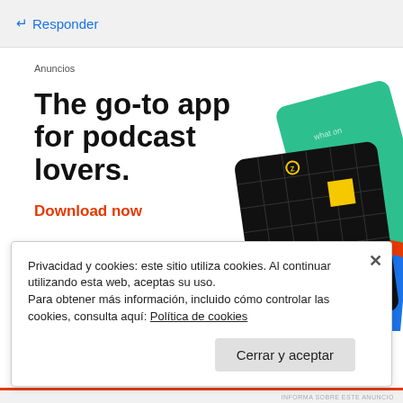↵ Responder
Anuncios
[Figure (illustration): Advertisement for a podcast app showing bold headline 'The go-to app for podcast lovers.' with a red 'Download now' CTA link and decorative podcast app cards including a '99% Invisible' card on a black grid background and a green card partially visible.]
Privacidad y cookies: este sitio utiliza cookies. Al continuar utilizando esta web, aceptas su uso.
Para obtener más información, incluido cómo controlar las cookies, consulta aquí: Política de cookies
Cerrar y aceptar